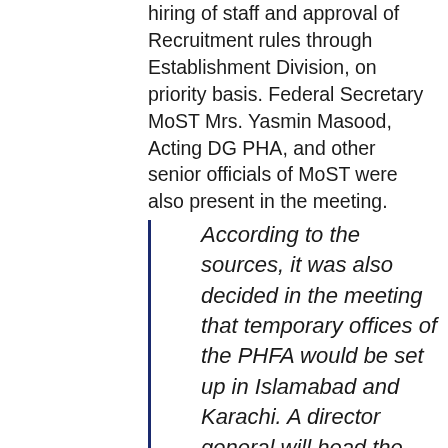hiring of staff and approval of Recruitment rules through Establishment Division, on priority basis. Federal Secretary MoST Mrs. Yasmin Masood, Acting DG PHA, and other senior officials of MoST were also present in the meeting.
According to the sources, it was also decided in the meeting that temporary offices of the PHFA would be set up in Islamabad and Karachi. A director general will head the authority while two acting director generals would assist him along with